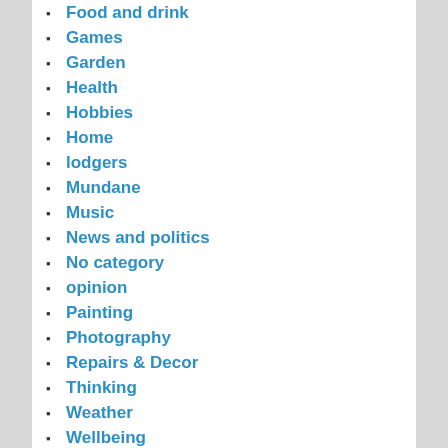Food and drink
Games
Garden
Health
Hobbies
Home
lodgers
Mundane
Music
News and politics
No category
opinion
Painting
Photography
Repairs & Decor
Thinking
Weather
Wellbeing
Work
ARCHIVES